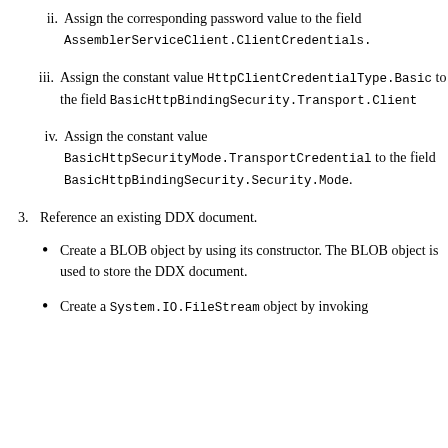ii. Assign the corresponding password value to the field AssemblerServiceClient.ClientCredentials.
iii. Assign the constant value HttpClientCredentialType.Basic to the field BasicHttpBindingSecurity.Transport.Client
iv. Assign the constant value BasicHttpSecurityMode.TransportCredential to the field BasicHttpBindingSecurity.Security.Mode.
3. Reference an existing DDX document.
Create a BLOB object by using its constructor. The BLOB object is used to store the DDX document.
Create a System.IO.FileStream object by invoking